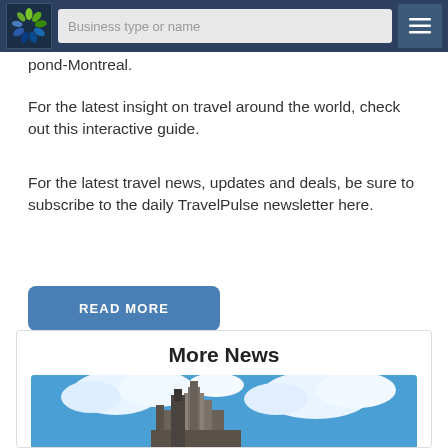Business type or name
pond-Montreal.
For the latest insight on travel around the world, check out this interactive guide.
For the latest travel news, updates and deals, be sure to subscribe to the daily TravelPulse newsletter here.
READ MORE
More News
[Figure (photo): Ancient Mayan ruins (temple/pyramid) against a blue sky with white clouds]